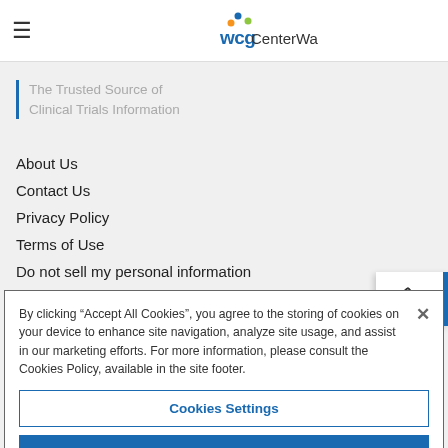WCG CenterWatch
The Trusted Source of Clinical Trials Information
About Us
Contact Us
Privacy Policy
Terms of Use
Do not sell my personal information
By clicking “Accept All Cookies”, you agree to the storing of cookies on your device to enhance site navigation, analyze site usage, and assist in our marketing efforts. For more information, please consult the Cookies Policy, available in the site footer.